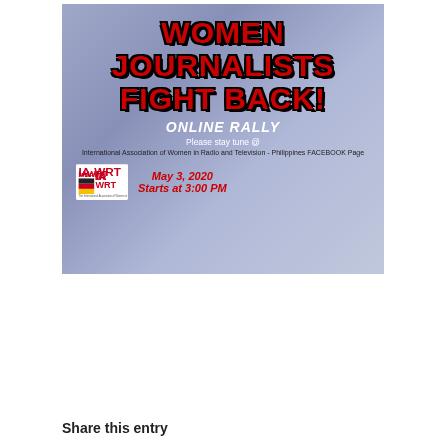[Figure (infographic): Event poster for 'Women Journalists Fight Back! Online Rally' on May 3, 2020, starting at 3:00 PM. Features IAWRT logo and text directing viewers to the International Association of Women in Radio and Television - Philippines FACEBOOK Page. Lavender/blue-grey gradient background with red and white text.]
Share this entry